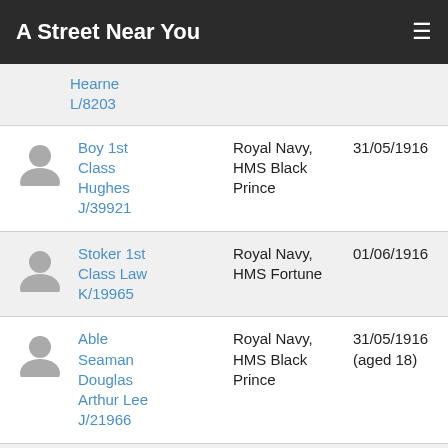A Street Near You
Hearne L/8203
Boy 1st Class Hughes J/39921 | Royal Navy, HMS Black Prince | 31/05/1916
Stoker 1st Class Law K/19965 | Royal Navy, HMS Fortune | 01/06/1916
Able Seaman Douglas Arthur Lee J/21966 | Royal Navy, HMS Black Prince | 31/05/1916 (aged 18)
Surgeon Probationer John... | Royal Naval Volunteer Reserve, HMS... | 31/05/1916 (aged 22)